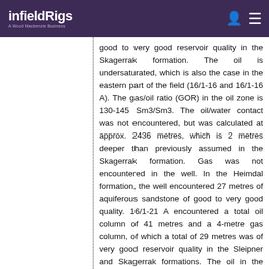infieldRigs — A Wood Mackenzie Business
good to very good reservoir quality in the Skagerrak formation. The oil is undersaturated, which is also the case in the eastern part of the field (16/1-16 and 16/1-16 A). The gas/oil ratio (GOR) in the oil zone is 130-145 Sm3/Sm3. The oil/water contact was not encountered, but was calculated at approx. 2436 metres, which is 2 metres deeper than previously assumed in the Skagerrak formation. Gas was not encountered in the well. In the Heimdal formation, the well encountered 27 metres of aquiferous sandstone of good to very good quality. 16/1-21 A encountered a total oil column of 41 metres and a 4-metre gas column, of which a total of 29 metres was of very good reservoir quality in the Sleipner and Skagerrak formations. The oil in the Sleipner formation is saturated, while the oil in the Skagerrak formation is largely undersaturated. The oil/water contact was not encountered. The well results have yielded valuable information as regards the final location of production and